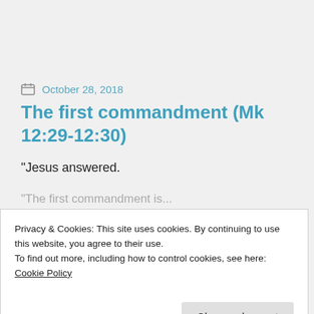October 28, 2018
The first commandment (Mk 12:29-12:30)
“Jesus answered.
“The first commandment is...
Privacy & Cookies: This site uses cookies. By continuing to use this website, you agree to their use.
To find out more, including how to control cookies, see here: Cookie Policy
Close and accept
The Lord Our God!